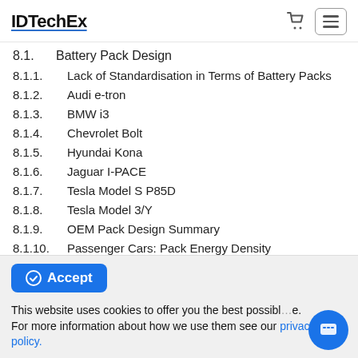IDTechEx
8.1. Battery Pack Design
8.1.1. Lack of Standardisation in Terms of Battery Packs
8.1.2. Audi e-tron
8.1.3. BMW i3
8.1.4. Chevrolet Bolt
8.1.5. Hyundai Kona
8.1.6. Jaguar I-PACE
8.1.7. Tesla Model S P85D
8.1.8. Tesla Model 3/Y
8.1.9. OEM Pack Design Summary
8.1.10. Passenger Cars: Pack Energy Density
This website uses cookies to offer you the best possible experience. For more information about how we use them see our privacy policy.